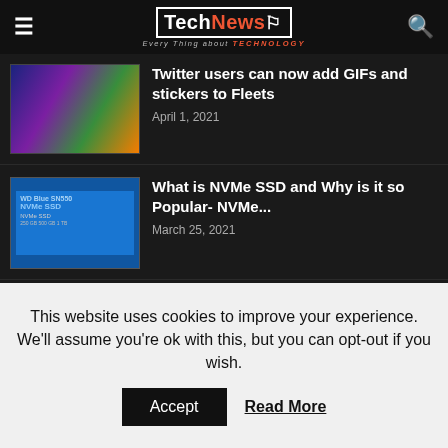TechNewsO — Every Thing about TECHNOLOGY
Twitter users can now add GIFs and stickers to Fleets
April 1, 2021
What is NVMe SSD and Why is it so Popular- NVMe...
March 25, 2021
Search
This website uses cookies to improve your experience. We'll assume you're ok with this, but you can opt-out if you wish.
Accept
Read More